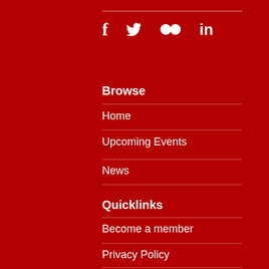[Figure (other): Social media icons: Facebook (f), Twitter (bird), Flickr (two circles), LinkedIn (in)]
Browse
Home
Upcoming Events
News
Quicklinks
Become a member
Privacy Policy
Contact us